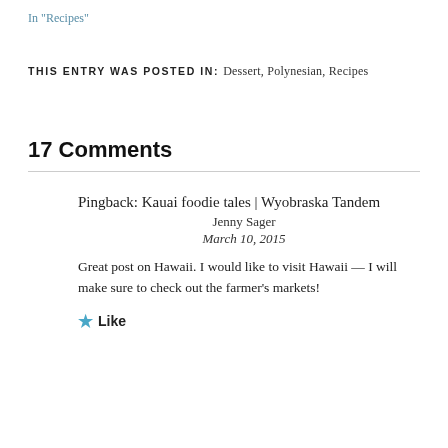In "Recipes"
THIS ENTRY WAS POSTED IN: Dessert, Polynesian, Recipes
17 Comments
Pingback: Kauai foodie tales | Wyobraska Tandem
Jenny Sager
March 10, 2015
Great post on Hawaii. I would like to visit Hawaii — I will make sure to check out the farmer's markets!
Like